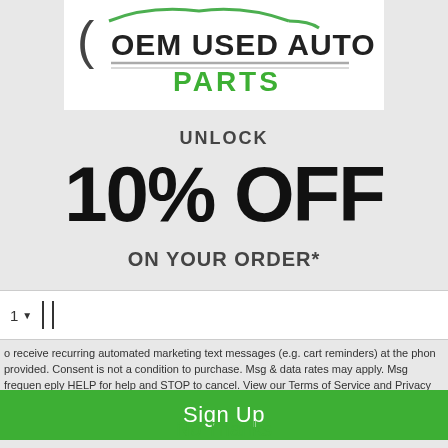[Figure (logo): OEM Used Auto Parts logo with car silhouette outline, bold dark text 'OEM USED AUTO' and green text 'PARTS' with decorative stripe]
UNLOCK
10% OFF
ON YOUR ORDER*
1 · [phone input field]
o receive recurring automated marketing text messages (e.g. cart reminders) at the phon provided. Consent is not a condition to purchase. Msg & data rates may apply. Msg frequen eply HELP for help and STOP to cancel. View our Terms of Service and Privacy Policy.
Sign Up
No Thanks